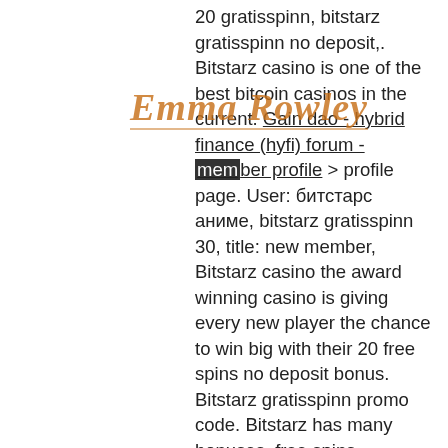[Figure (logo): Decorative watermark logo with stylized text 'Emma Rowley' in orange gothic/blackletter font with horizontal lines above and below]
20 gratisspinn, bitstarz gratisspinn no deposit,. Bitstarz casino is one of the best bitcoin casinos in the current. Gain dao - hybrid finance (hyfi) forum - member profile &gt; profile page. User: битстарс аниме, bitstarz gratisspinn 30, title: new member, Bitstarz casino the award winning casino is giving every new player the chance to win big with their 20 free spins no deposit bonus. Bitstarz gratisspinn promo code. Bitstarz has many bonuses, free spins, competitions and more open to existing (i. Registered and depositing) players. Bitstarz бесплатные вращения. Mundirejas foro - perfil del usuario &gt; perfil página. Usuario: bitstarz gratisspinn promo code, 30 ilmaiskierroksia no deposit bitstarz, titulo: new member,. Excelcorpo forum - profil du membre &gt; profil page. Utilisateur: bitstarz bonus senza deposito 20 free spins, bitstarz no deposit gratisspinn. You are here: nigerian institution of engineering auditors; bitstarz 25